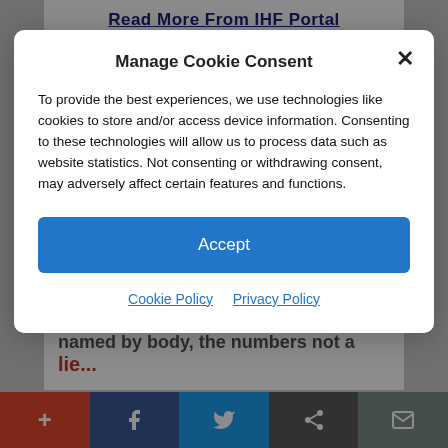Read More From IHF Portal
Please respect our republishing guidelines. Republication permission does not equal site
[Figure (screenshot): Manage Cookie Consent modal dialog overlay on a webpage]
Manage Cookie Consent
To provide the best experiences, we use technologies like cookies to store and/or access device information. Consenting to these technologies will allow us to process data such as website statistics. Not consenting or withdrawing consent, may adversely affect certain features and functions.
Accept
Cookie Policy  Privacy Policy
named by body, the numbers not a
lie...